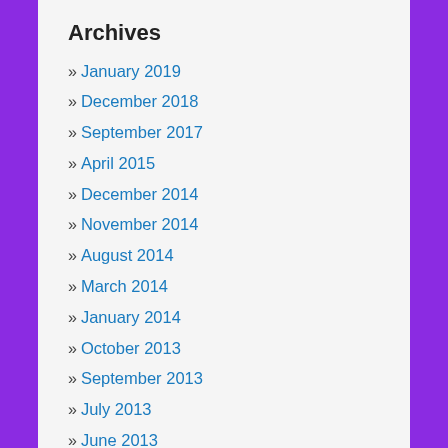Archives
January 2019
December 2018
September 2017
April 2015
December 2014
November 2014
August 2014
March 2014
January 2014
October 2013
September 2013
July 2013
June 2013
May 2013
April 2013
March 2013
September 2012
August 2012
June 2012